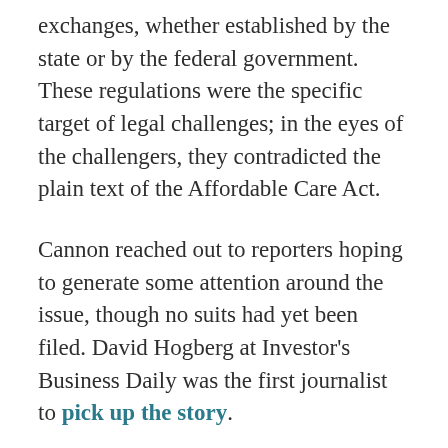exchanges, whether established by the state or by the federal government. These regulations were the specific target of legal challenges; in the eyes of the challengers, they contradicted the plain text of the Affordable Care Act.
Cannon reached out to reporters hoping to generate some attention around the issue, though no suits had yet been filed. David Hogberg at Investor's Business Daily was the first journalist to pick up the story.
Cannon and Adler co-authored a November 2011 editorial in the Wall Street Journal, characterizing the problem as a "glitch" in the way the law was written.